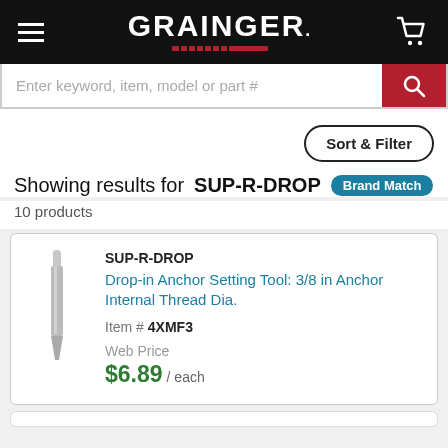GRAINGER
Enter keyword, item, model or part #
Sort & Filter
Showing results for SUP-R-DROP  Brand Match
10 products
SUP-R-DROP
Drop-in Anchor Setting Tool: 3/8 in Anchor Internal Thread Dia.
Item #  4XMF3
Web Price
$6.89 / each